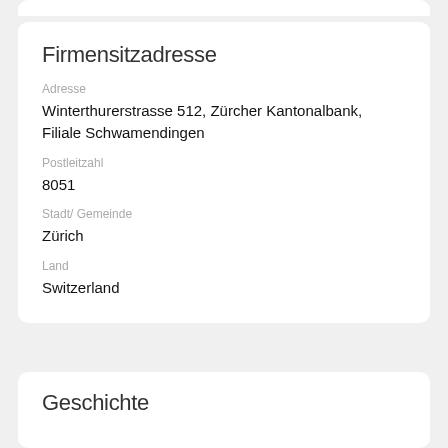Firmensitzadresse
Adresse
Winterthurerstrasse 512, Zürcher Kantonalbank, Filiale Schwamendingen
Postleitzahl
8051
Stadt/ Gemeinde
Zürich
Land
Switzerland
Geschichte